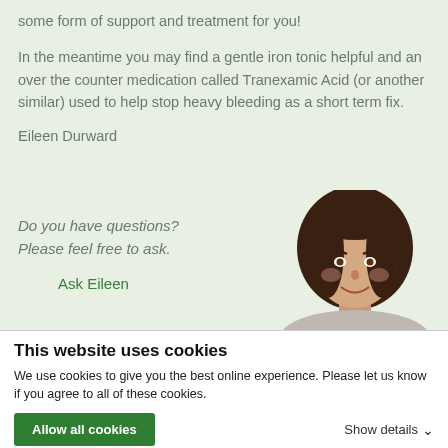some form of support and treatment for you!
In the meantime you may find a gentle iron tonic helpful and an over the counter medication called Tranexamic Acid (or another similar) used to help stop heavy bleeding as a short term fix.
Eileen Durward
Do you have questions? Please feel free to ask.
Ask Eileen
[Figure (photo): Portrait photo of a smiling woman with brown shoulder-length hair]
This website uses cookies
We use cookies to give you the best online experience. Please let us know if you agree to all of these cookies.
Allow all cookies
Show details